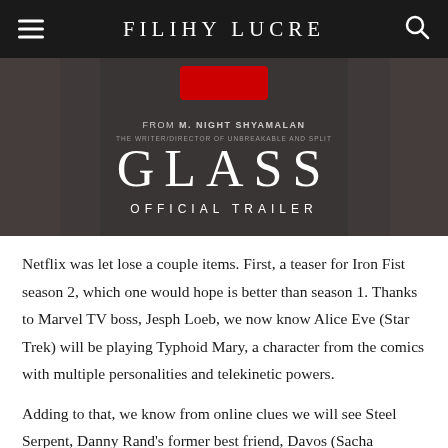FILIHY LUCRE
[Figure (photo): Movie trailer thumbnail for GLASS by M. Night Shyamalan. Text reads: FROM M. NIGHT SHYAMALAN / THE WRITER/DIRECTOR OF UNBREAKABLE AND SPLIT / GLASS / OFFICIAL TRAILER]
Netflix was let lose a couple items. First, a teaser for Iron Fist season 2, which one would hope is better than season 1. Thanks to Marvel TV boss, Jesph Loeb, we now know Alice Eve (Star Trek) will be playing Typhoid Mary, a character from the comics with multiple personalities and telekinetic powers.
Adding to that, we know from online clues we will see Steel Serpent, Danny Rand's former best friend, Davos (Sacha Dhawan). How the first seasons of Iron Fist was